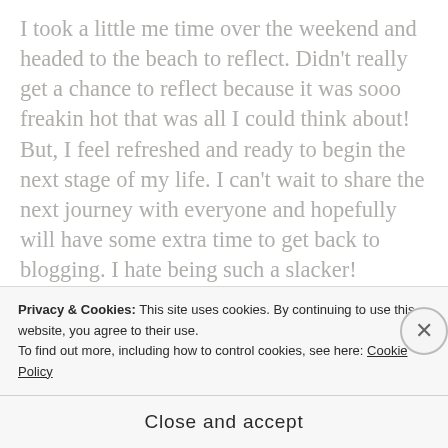I took a little me time over the weekend and headed to the beach to reflect. Didn't really get a chance to reflect because it was sooo freakin hot that was all I could think about! But, I feel refreshed and ready to begin the next stage of my life. I can't wait to share the next journey with everyone and hopefully will have some extra time to get back to blogging. I hate being such a slacker!
[Figure (photo): Blog promotional image with 'Let's get started' text on white box, alongside a circular photo of a person typing on a laptop wearing a brown sweater.]
Privacy & Cookies: This site uses cookies. By continuing to use this website, you agree to their use.
To find out more, including how to control cookies, see here: Cookie Policy
Close and accept